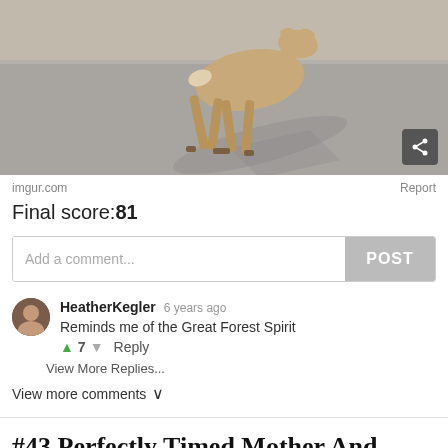[Figure (photo): A deer or antelope walking across pavement, photographed from behind/side showing long thin legs and shadow on road surface. Share button visible bottom right.]
imgur.com
Report
Final score:81
Add a comment...
POST
HeatherKegler 6 years ago
Reminds me of the Great Forest Spirit
7
Reply
View More Replies...
View more comments ∨
#43 Perfectly Timed Mother And Child